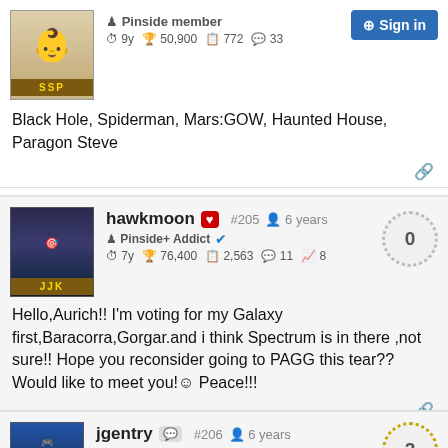[Figure (screenshot): User avatar with SSP label]
Pinside member
9y  50,900  772  33
Black Hole, Spiderman, Mars:GOW, Haunted House, Paragon Steve
[Figure (screenshot): User avatar with JJK label]
hawkmoon #205  6 years
Pinside+ Addict
7y  76,400  2,563  11  8
Hello,Aurich!! I'm voting for my Galaxy first,Baracorra,Gorgar.and i think Spectrum is in there ,not sure!! Hope you reconsider going to PAGG this tear?? Would like to meet you!☺ Peace!!!
[Figure (screenshot): User avatar for jgentry]
jgentry #206  6 years  2